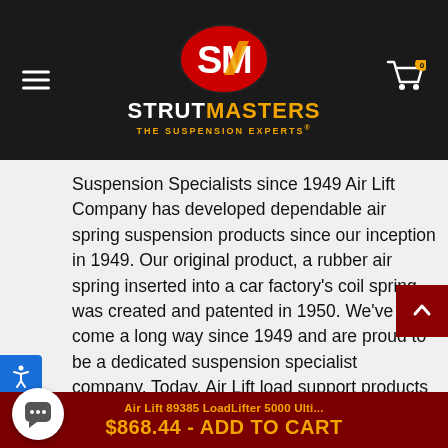[Figure (logo): StrutMasters logo with SM oval and brand text 'STRUTMASTERS - THE SUSPENSION EXPERTS']
Suspension Specialists since 1949 Air Lift Company has developed dependable air spring suspension products since our inception in 1949. Our original product, a rubber air spring inserted into a car factory's coil spring, was created and patented in 1950. We've come a long way since 1949 and are proud to be a dedicated suspension specialist company. Today, Air Lift load support products are sold worldwide and are engineered to fit over 540 vehicles. Our extensive product line offers air helper springs for trucks, RVs, SUVs, CUVs and vans, and the most technologically advanced on-board air compress
Air Lift 89385 LoadLifter 5000 Ulti... $868.44 - ADD TO CART